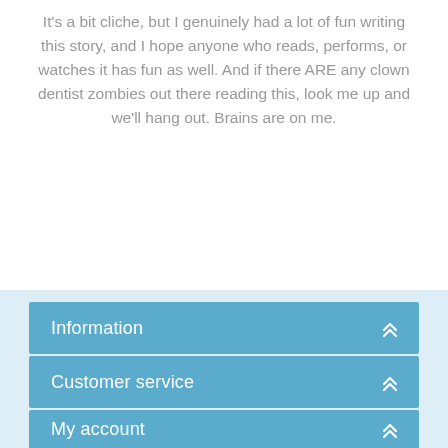It's a bit cliche, but I genuinely had a lot of fun writing this story, and I hope anyone who reads, performs, or watches it has fun as well. And if there ARE any clown dentist zombies out there reading this, look me up and we'll hang out. Brains are on me.
Information
Customer service
My account